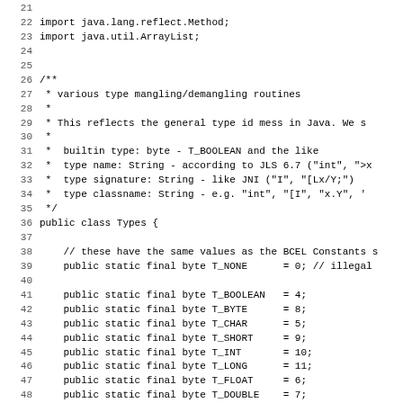Java source code showing import statements, Javadoc comment for class Types, and public static final byte constants for type identifiers (T_NONE, T_BOOLEAN, T_BYTE, T_CHAR, T_SHORT, T_INT, T_LONG, T_FLOAT, T_DOUBLE, T_REFERENCE, T_ARRAY, T_VOID). Lines 21-52.